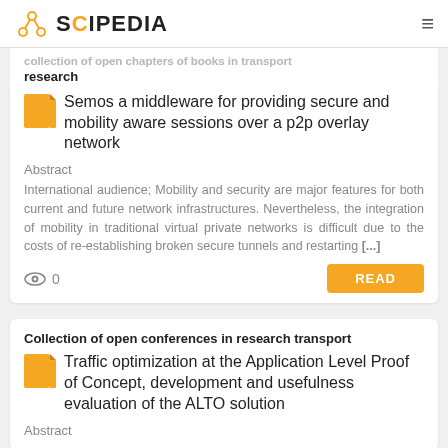SCIPEDIA
collection of open chapters of books in transport research
Semos a middleware for providing secure and mobility aware sessions over a p2p overlay network
Abstract
International audience; Mobility and security are major features for both current and future network infrastructures. Nevertheless, the integration of mobility in traditional virtual private networks is difficult due to the costs of re-establishing broken secure tunnels and restarting [...]
0
Collection of open conferences in research transport
Traffic optimization at the Application Level Proof of Concept, development and usefulness evaluation of the ALTO solution
Abstract